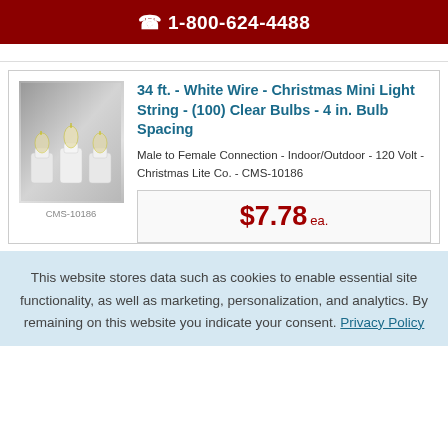📞 1-800-624-4488
[Figure (photo): Three white mini Christmas light bulbs with white sockets against a gray background]
CMS-10186
34 ft. - White Wire - Christmas Mini Light String - (100) Clear Bulbs - 4 in. Bulb Spacing
Male to Female Connection - Indoor/Outdoor - 120 Volt - Christmas Lite Co. - CMS-10186
$7.78 ea.
This website stores data such as cookies to enable essential site functionality, as well as marketing, personalization, and analytics. By remaining on this website you indicate your consent. Privacy Policy